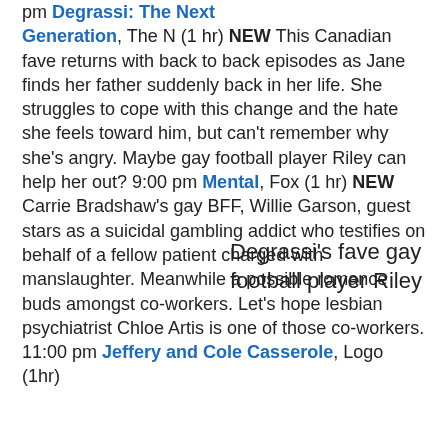pm Degrassi: The Next Generation, The N (1 hr) NEW This Canadian fave returns with back to back episodes as Jane finds her father suddenly back in her life. She struggles to cope with this change and the hate she feels toward him, but can't remember why she's angry. Maybe gay football player Riley can help her out? 9:00 pm Mental, Fox (1 hr) NEW Carrie Bradshaw's gay BFF, Willie Garson, guest stars as a suicidal gambling addict who testifies on behalf of a fellow patient charged with manslaughter. Meanwhile a possible romance buds amongst co-workers. Let's hope lesbian psychiatrist Chloe Artis is one of those co-workers. 11:00 pm Jeffery and Cole Casserole, Logo (1hr)
Degrassi's fave gay football player Riley